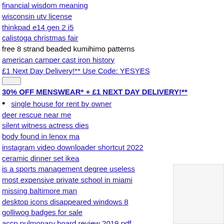financial wisdom meaning
wisconsin utv license
thinkpad e14 gen 2 i5
calistoga christmas fair
free 8 strand beaded kumihimo patterns
american camper cast iron history
£1 Next Day Delivery!** Use Code: YESYES
[input box]
30% OFF MENSWEAR* + £1 NEXT DAY DELIVERY!**
single house for rent by owner
deer rescue near me
silent witness actress dies
body found in lenox ma
instagram video downloader shortcut 2022
ceramic dinner set ikea
is a sports management degree useless
most expensive private school in miami
missing baltimore man
desktop icons disappeared windows 8
golliwog badges for sale
accp pulmonary board review 2019 pdf
windows 10 stig checklist
agricultural supplies
what do you expect from your boyfriend
mantis 10 wiring diagram